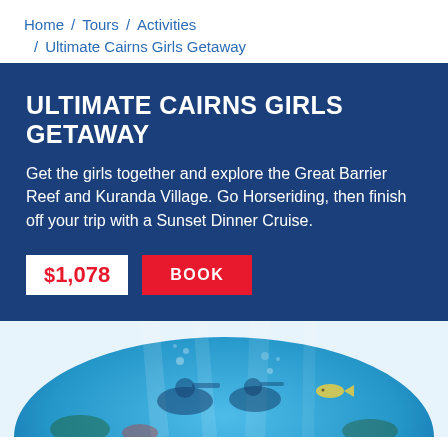Home / Tours / Activities / Ultimate Cairns Girls Getaway
ULTIMATE CAIRNS GIRLS GETAWAY
Get the girls together and explore the Great Barrier Reef and Kuranda Village. Go Horseriding, then finish off your trip with a Sunset Dinner Cruise.
$1,078  BOOK
[Figure (photo): Underwater photo showing people snorkelling or diving in blue water near the Great Barrier Reef]